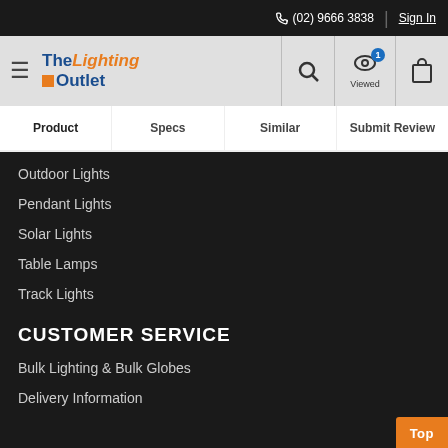(02) 9666 3838 | Sign In
[Figure (logo): The Lighting Outlet logo with orange square and blue/orange text]
Product  Specs  Similar  Submit Review
Outdoor Lights
Pendant Lights
Solar Lights
Table Lamps
Track Lights
CUSTOMER SERVICE
Bulk Lighting & Bulk Globes
Delivery Information